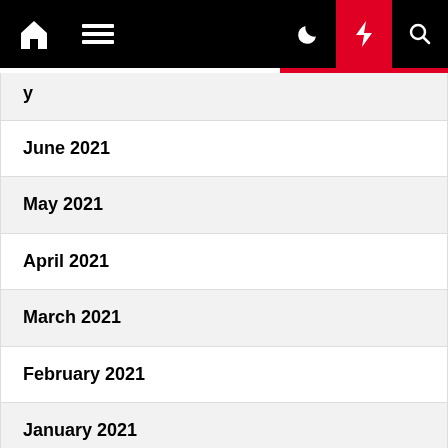Navigation bar with home icon, menu, moon icon, lightning icon (active), search icon
June 2021
May 2021
April 2021
March 2021
February 2021
January 2021
December 2020
November 2020
October 2020